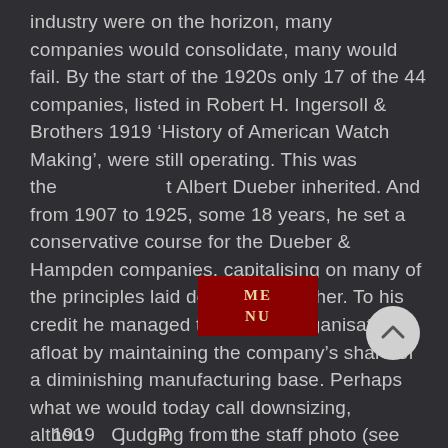industry were on the horizon, many companies would consolidate, many would fail. By the start of the 1920s only 17 of the 44 companies, listed in Robert H. Ingersoll & Brothers 1919 ‘History of American Watch Making’, were still operating. This was the challenge that Albert Dueber inherited. And from 1907 to 1925, some 18 years, he set a conservative course for the Dueber & Hampden companies, capitalising on many of the principles laid down by his father. To his credit he managed to kept the organisations afloat by maintaining the company’s share of a diminishing manufacturing base. Perhaps what we would today call downsizing, although judging from the staff photo (see face collage above), taken in 1913, the organisation was still a significant employer at that time.